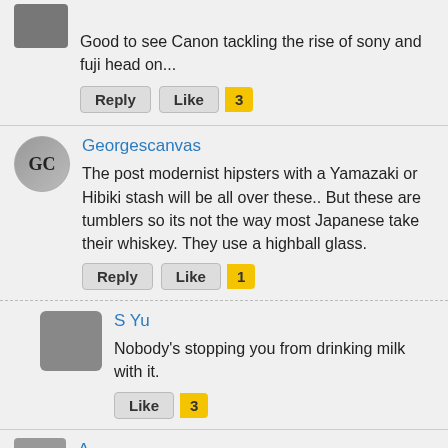Good to see Canon tackling the rise of sony and fuji head on...
Reply  Like  3
Georgescanvas
The post modernist hipsters with a Yamazaki or Hibiki stash will be all over these.. But these are tumblers so its not the way most Japanese take their whiskey. They use a highball glass.
Reply  Like  1
S Yu
Nobody's stopping you from drinking milk with it.
Like  3